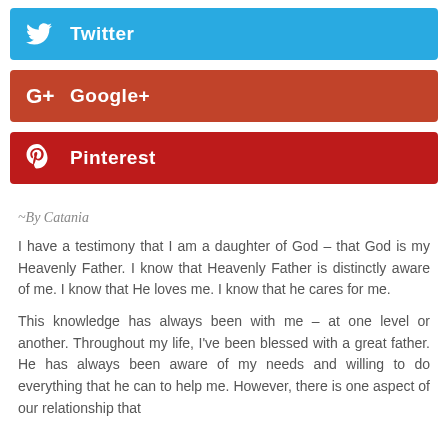[Figure (other): Twitter social share button with bird icon]
[Figure (other): Google+ social share button with G+ icon]
[Figure (other): Pinterest social share button with P icon]
~By Catania
I have a testimony that I am a daughter of God – that God is my Heavenly Father. I know that Heavenly Father is distinctly aware of me. I know that He loves me. I know that he cares for me.
This knowledge has always been with me – at one level or another. Throughout my life, I've been blessed with a great father. He has always been aware of my needs and willing to do everything that he can to help me. However, there is one aspect of our relationship that